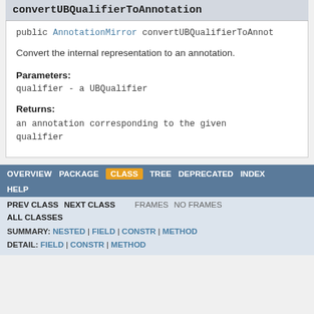convertUBQualifierToAnnotation
public AnnotationMirror convertUBQualifierToAnnot...
Convert the internal representation to an annotation.
Parameters:
qualifier - a UBQualifier
Returns:
an annotation corresponding to the given qualifier
OVERVIEW  PACKAGE  CLASS  TREE  DEPRECATED  INDEX  HELP  PREV CLASS  NEXT CLASS  FRAMES  NO FRAMES  ALL CLASSES  SUMMARY: NESTED | FIELD | CONSTR | METHOD  DETAIL: FIELD | CONSTR | METHOD